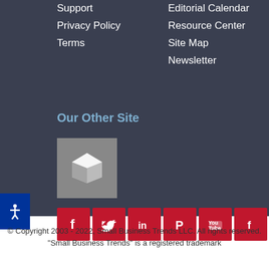Support
Privacy Policy
Terms
Editorial Calendar
Resource Center
Site Map
Newsletter
Our Other Site
[Figure (logo): White cube logo on gray background]
[Figure (infographic): Social media icons row: Facebook, Twitter, LinkedIn, Pinterest, YouTube, Flipboard, RSS — red background with white icons]
© Copyright 2003 - 2022, Small Business Trends LLC. All rights reserved. "Small Business Trends" is a registered trademark